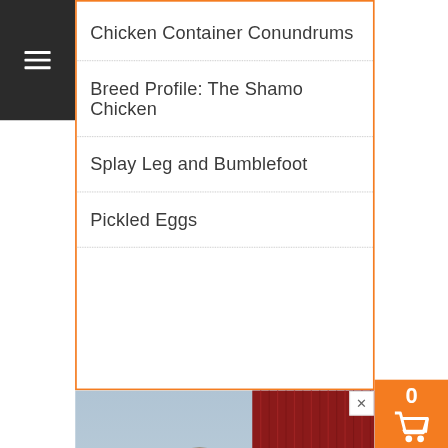Chicken Container Conundrums
Breed Profile: The Shamo Chicken
Splay Leg and Bumblefoot
Pickled Eggs
[Figure (photo): Man in green shirt holding two raw plucked chickens, standing in front of a red corrugated metal barn, with a silver processing tub in front of him.]